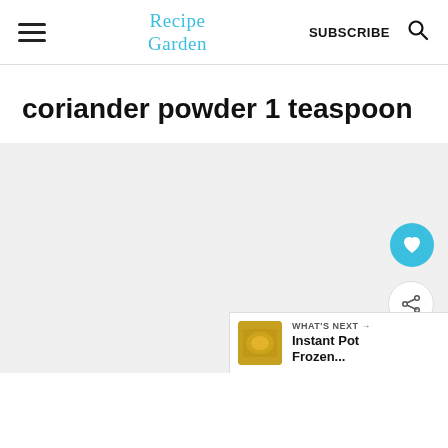Recipe Garden | SUBSCRIBE
coriander powder 1 teaspoon
[Figure (other): Light gray content placeholder area with teal heart FAB button, white share FAB button, and a 'WHAT'S NEXT → Instant Pot Frozen...' card with a food thumbnail image in the bottom-right corner.]